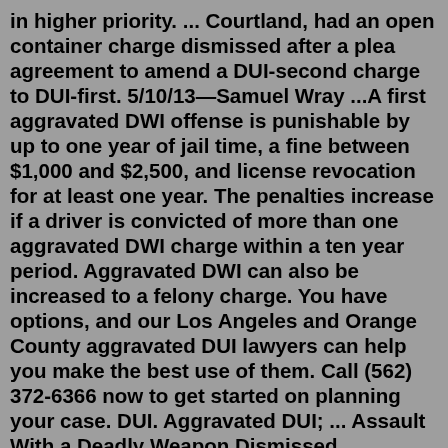in higher priority. ... Courtland, had an open container charge dismissed after a plea agreement to amend a DUI-second charge to DUI-first. 5/10/13—Samuel Wray ...A first aggravated DWI offense is punishable by up to one year of jail time, a fine between $1,000 and $2,500, and license revocation for at least one year. The penalties increase if a driver is convicted of more than one aggravated DWI charge within a ten year period. Aggravated DWI can also be increased to a felony charge. You have options, and our Los Angeles and Orange County aggravated DUI lawyers can help you make the best use of them. Call (562) 372-6366 now to get started on planning your case. DUI. Aggravated DUI; ... Assault With a Deadly Weapon Dismissed. Attempted Murder Dismissed. Domestic Violence Not Guilty. Firearm Possession Felony Not Guilty ...My question involves criminal records for the state of: Arizona My question is, does the sentencing judge have the ability to drop an aggravated DUI (class 4 felony) to a misdemeanor after some of the conditions for the time. I would li